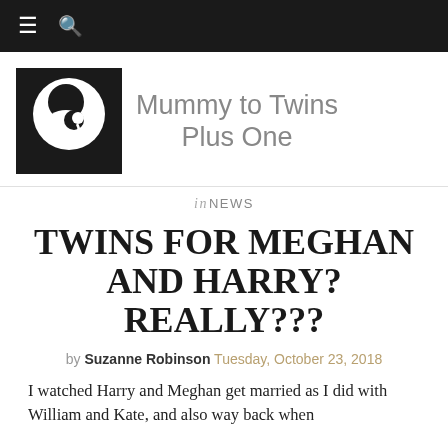≡ 🔍
[Figure (logo): Mummy to Twins Plus One logo: black square with white circular baby/mother icon]
Mummy to Twins Plus One
in NEWS
TWINS FOR MEGHAN AND HARRY? REALLY???
by Suzanne Robinson Tuesday, October 23, 2018
I watched Harry and Meghan get married as I did with William and Kate, and also way back when